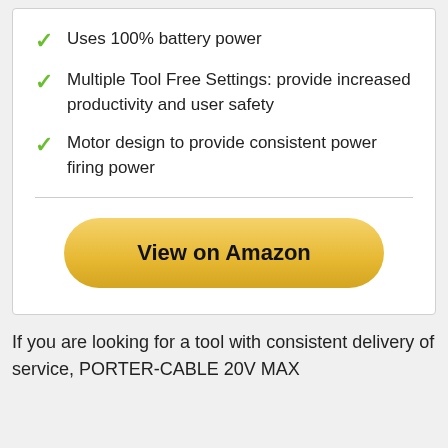Uses 100% battery power
Multiple Tool Free Settings: provide increased productivity and user safety
Motor design to provide consistent power firing power
[Figure (other): Yellow rounded button labeled 'View on Amazon']
If you are looking for a tool with consistent delivery of service, PORTER-CABLE 20V MAX